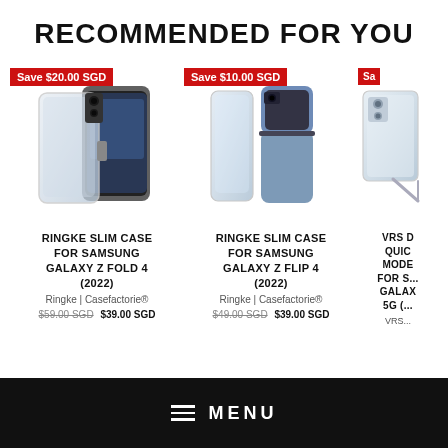RECOMMENDED FOR YOU
[Figure (photo): Ringke Slim Case for Samsung Galaxy Z Fold 4 (2022) product image with 'Save $20.00 SGD' badge]
RINGKE SLIM CASE FOR SAMSUNG GALAXY Z FOLD 4 (2022)
Ringke | Casefactorie®
$59.00 SGD  $39.00 SGD
[Figure (photo): Ringke Slim Case for Samsung Galaxy Z Flip 4 (2022) product image with 'Save $10.00 SGD' badge]
RINGKE SLIM CASE FOR SAMSUNG GALAXY Z FLIP 4 (2022)
Ringke | Casefactorie®
$49.00 SGD  $39.00 SGD
[Figure (photo): VRS Design Quick Stand Modern case for Samsung Galaxy 5G product image with 'Sa...' badge (partially visible)]
VRS DESIGN QUICK STAND MODERN FOR SAMSUNG GALAXY 5G (...)
VRS...
≡  MENU